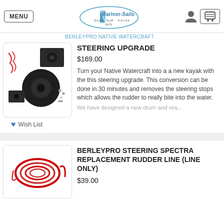[Figure (logo): Mariner-Sails logo with sailboat icon and text 'SAIL · SUP · KAYAK 1973']
BERLEYPRO NATIVE WATERCRAFT
[Figure (photo): Steering upgrade kit components: black circular disc, mounting plate, red wiring, and small hardware pieces]
Wish List
STEERING UPGRADE
$169.00
Turn your Native Watercraft into a a new kayak with the this steering upgrade. This conversion can be done in 30 minutes and removes the steering stops which allows the rudder to really bite into the water.
We have designed a new drum and rea...
[Figure (photo): Coiled red spectra replacement rudder line]
BERLEYPRO STEERING SPECTRA REPLACEMENT RUDDER LINE (LINE ONLY)
$39.00